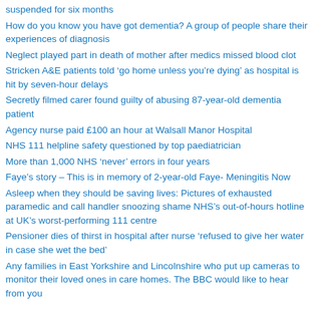suspended for six months
How do you know you have got dementia? A group of people share their experiences of diagnosis
Neglect played part in death of mother after medics missed blood clot
Stricken A&E patients told ‘go home unless you’re dying’ as hospital is hit by seven-hour delays
Secretly filmed carer found guilty of abusing 87-year-old dementia patient
Agency nurse paid £100 an hour at Walsall Manor Hospital
NHS 111 helpline safety questioned by top paediatrician
More than 1,000 NHS ‘never’ errors in four years
Faye’s story – This is in memory of 2-year-old Faye- Meningitis Now
Asleep when they should be saving lives: Pictures of exhausted paramedic and call handler snoozing shame NHS’s out-of-hours hotline at UK’s worst-performing 111 centre
Pensioner dies of thirst in hospital after nurse ‘refused to give her water in case she wet the bed’
Any families in East Yorkshire and Lincolnshire who put up cameras to monitor their loved ones in care homes. The BBC would like to hear from you
Any healthcare whistleblowers approached by NHS to keep quiet by NHS logo...